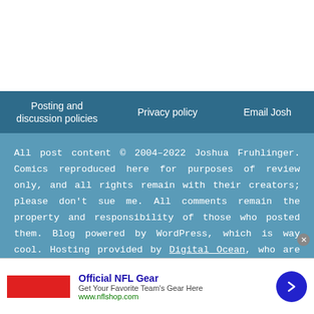Posting and discussion policies | Privacy policy | Email Josh
All post content © 2004–2022 Joshua Fruhlinger. Comics reproduced here for purposes of review only, and all rights remain with their creators; please don't sue me. All comments remain the property and responsibility of those who posted them. Blog powered by WordPress, which is way cool. Hosting provided by Digital Ocean, who are lovely people. Site designed by the charming and talented Adam Norwood; logo designed by the talented and charming Francesco Marciuliano. This blog was once known as I Read The Comics So...
[Figure (screenshot): Advertisement banner for Official NFL Gear with red image box, text 'Get Your Favorite Team's Gear Here', URL www.nflshop.com, and a blue circular arrow button. Close button (x) visible top right.]